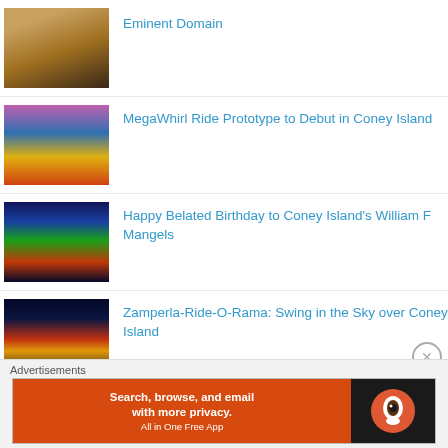[Figure (photo): Thumbnail photo of a person, warm tones]
Eminent Domain
[Figure (photo): Thumbnail photo of bumper cars ride, colorful]
MegaWhirl Ride Prototype to Debut in Coney Island
[Figure (photo): Thumbnail photo of an arcade/amusement game machine, blue and colorful]
Happy Belated Birthday to Coney Island's William F Mangels
[Figure (photo): Thumbnail photo of fireworks or ride lights against dark blue sky]
Zamperla-Ride-O-Rama: Swing in the Sky over Coney Island
Advertisements
[Figure (other): DuckDuckGo advertisement banner: Search, browse, and email with more privacy. All in One Free App]